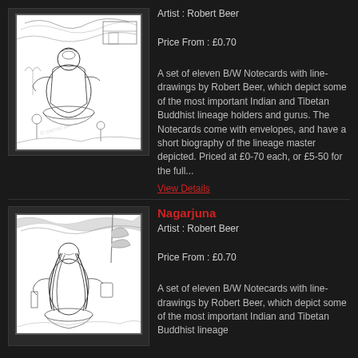[Figure (illustration): Black and white line drawing of a seated Buddhist figure (Tilopa or similar lineage holder) in a garden setting with decorative foliage and architectural elements, with smaller figures nearby. Watermark text visible.]
Artist : Robert Beer
Price From : £0.70
A set of eleven B/W Notecards with line-drawings by Robert Beer, which depict some of the most important Indian and Tibetan Buddhist lineage holders and gurus. The Notecards come with envelopes, and have a short biography of the lineage master depicted. Priced at £0-70 each, or £5-50 for the full...
View Details
Nagarjuna
Artist : Robert Beer
Price From : £0.70
A set of eleven B/W Notecards with line-drawings by Robert Beer, which depict some of the most important Indian and Tibetan Buddhist lineage
[Figure (illustration): Black and white line drawing of Nagarjuna, a Buddhist figure, seated with long flowing hair, holding items, with decorative background elements including trees and patterns.]